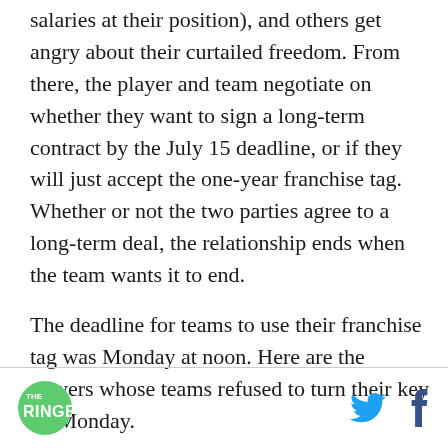salaries at their position), and others get angry about their curtailed freedom. From there, the player and team negotiate on whether they want to sign a long-term contract by the July 15 deadline, or if they will just accept the one-year franchise tag. Whether or not the two parties agree to a long-term deal, the relationship ends when the team wants it to end.
The deadline for teams to use their franchise tag was Monday at noon. Here are the players whose teams refused to turn their key on Monday.
THE RINGER